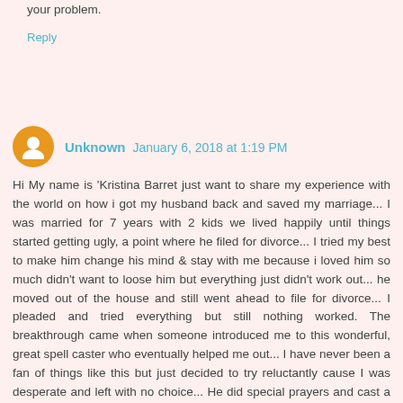your problem.
Reply
Unknown  January 6, 2018 at 1:19 PM
Hi My name is 'Kristina Barret just want to share my experience with the world on how i got my husband back and saved my marriage... I was married for 7 years with 2 kids we lived happily until things started getting ugly, a point where he filed for divorce... I tried my best to make him change his mind & stay with me because i loved him so much didn't want to loose him but everything just didn't work out... he moved out of the house and still went ahead to file for divorce... I pleaded and tried everything but still nothing worked. The breakthrough came when someone introduced me to this wonderful, great spell caster who eventually helped me out... I have never been a fan of things like this but just decided to try reluctantly cause I was desperate and left with no choice... He did special prayers and cast a return back spell on him... 48hours he called me and was sorry for all the emotional trauma he had cost me, moved back to the house and we continue to